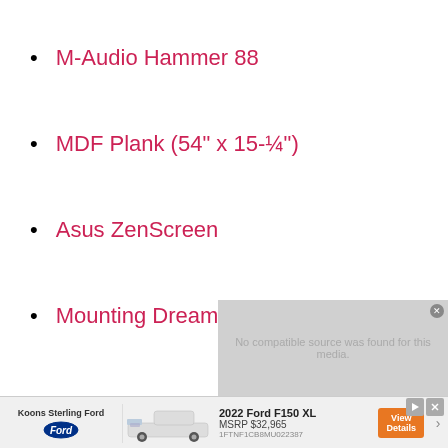M-Audio Hammer 88
MDF Plank (54" x 15-¼")
Asus ZenScreen
Mounting Dream TV Mount
[Figure (other): Video player showing 'No compatible source was found for this media.']
[Figure (other): Car advertisement banner: Koons Sterling Ford, 2022 Ford F150 XL, MSRP $32,965, View Details button]